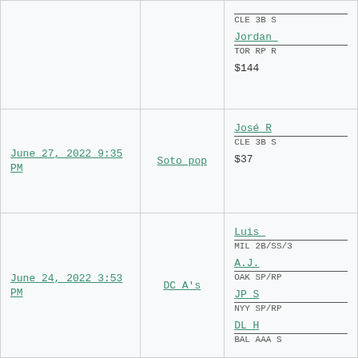| Date | League | Player/Price |
| --- | --- | --- |
|  |  | CLE 3B S...
Jordan ...
TOR RP R...
$144 |
| June 27, 2022 9:35 PM | Soto pop | José R...
CLE 3B S...
$37 |
| June 24, 2022 3:53 PM | DC A's | Luis ...
MIL 2B/SS/3...
A.J. ...
OAK SP/RP...
JP S...
NYY SP/RP...
DL H...
BAL AAA S... |